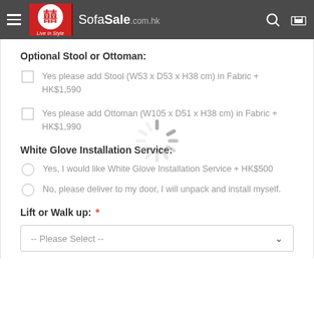SofaSale.com.hk
Optional Stool or Ottoman:
Yes please add Stool (W53 x D53 x H38 cm) in Fabric + HK$1,590
Yes please add Ottoman (W105 x D51 x H38 cm) in Fabric + HK$1,990
[Figure (infographic): Loading spinner (circular progress indicator) overlaid on the page content]
White Glove Installation Service:
Yes, I would like White Glove Installation Service + HK$500
No, please deliver to my door, I will unpack and install myself.
Lift or Walk up: *
-- Please Select --